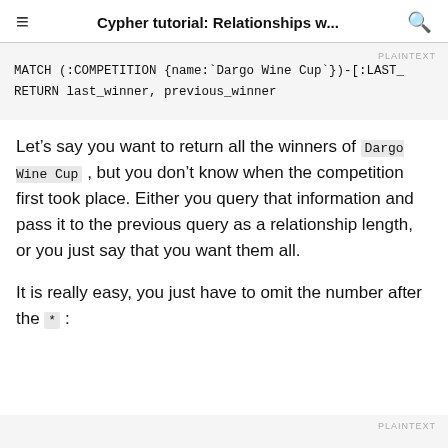Cypher tutorial: Relationships w...
MATCH (:COMPETITION {name:`Dargo Wine Cup`})-[:LAST_
RETURN last_winner, previous_winner
Let’s say you want to return all the winners of Dargo Wine Cup , but you don’t know when the competition first took place. Either you query that information and pass it to the previous query as a relationship length, or you just say that you want them all.
It is really easy, you just have to omit the number after the * :